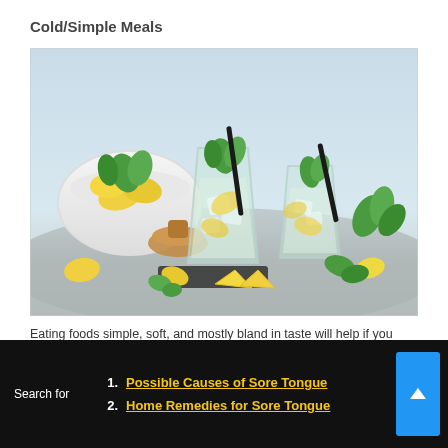Cold/Simple Meals
[Figure (photo): Photo of two glasses of cold lemonade with mint leaves, ice, and lemon slices on a slate board, with a white bowl of lemons and a wooden citrus juicer in the background.]
Eating foods simple, soft, and mostly bland in taste will help if you
Search for
1. Possible Causes of Sore Tongue
2. Home Remedies for Sore Tongue